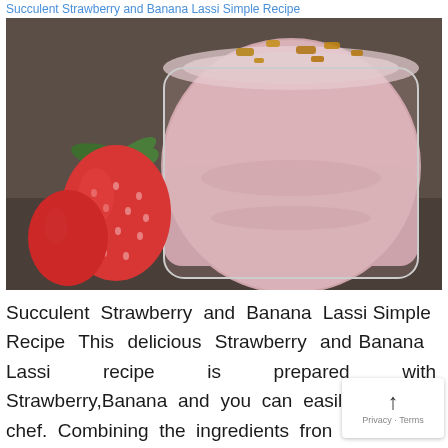Succulent Strawberry and Banana Lassi Simple Recipe
[Figure (photo): A glass of strawberry and banana lassi topped with brown spice crumbles, with two fresh strawberries and green leaves beside the glass on a dark surface.]
Succulent Strawberry and Banana Lassi Simple Recipe This delicious Strawberry and Banana Lassi recipe is prepared with Strawberry,Banana and you can easily as a chef. Combining the ingredients from the